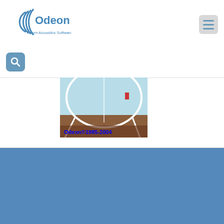[Figure (logo): Odeon Room Acoustics Software logo with concentric arc lines and text]
[Figure (screenshot): Screenshot of Odeon room acoustics software showing a 3D room interior with text 'Odeon©1985-2004']
We use cookies to optimize our website and our service.
Accept